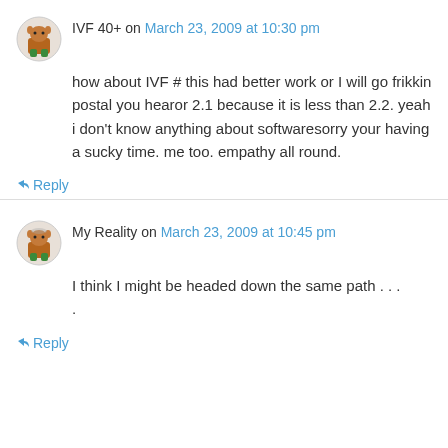IVF 40+ on March 23, 2009 at 10:30 pm
how about IVF # this had better work or I will go frikkin postal you hearor 2.1 because it is less than 2.2. yeah i don't know anything about softwaresorry your having a sucky time. me too. empathy all round.
↳ Reply
My Reality on March 23, 2009 at 10:45 pm
I think I might be headed down the same path . . .
↳ Reply